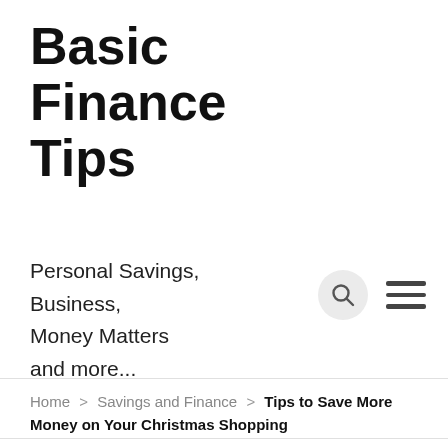Basic Finance Tips
Personal Savings, Business, Money Matters and more...
Home > Savings and Finance > Tips to Save More Money on Your Christmas Shopping